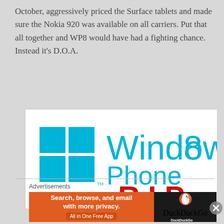October, aggressively priced the Surface tablets and made sure the Nokia 920 was available on all carriers. Put that all together and WP8 would have had a fighting chance.  Instead it's D.O.A.
[Figure (illustration): Windows 8 Phone logo with cyan Windows flag icon on the left, 'Windows 8 Phone' text in cyan on the right, and 'R.I.P.' in bold red text at the bottom right on a white background.]
Advertisements
[Figure (illustration): DuckDuckGo advertisement banner: orange background on left with text 'Search, browse, and email with more privacy. All in One Free App' in white; black background on right with DuckDuckGo duck logo and 'DuckDuckGo' text in white.]